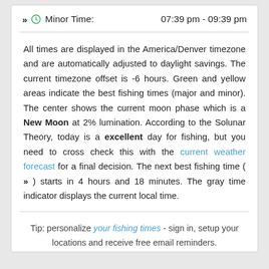>> (clock) Minor Time:    07:39 pm - 09:39 pm
All times are displayed in the America/Denver timezone and are automatically adjusted to daylight savings. The current timezone offset is -6 hours. Green and yellow areas indicate the best fishing times (major and minor). The center shows the current moon phase which is a New Moon at 2% lumination. According to the Solunar Theory, today is a excellent day for fishing, but you need to cross check this with the current weather forecast for a final decision. The next best fishing time ( >> ) starts in 4 hours and 18 minutes. The gray time indicator displays the current local time.
Tip: personalize your fishing times - sign in, setup your locations and receive free email reminders.